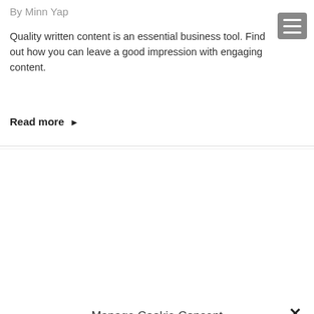By Minn Yap
Quality written content is an essential business tool. Find out how you can leave a good impression with engaging content.
Read more ▶
Manage Cookie Consent
To provide the best experiences, we use technologies like cookies to store and/or access device information. Consenting to these technologies will allow us to process data such as browsing behaviour or unique IDs on this site. Not consenting or withdrawing consent, may adversely affect certain features and functions.
Accept
View preferences
Cookie Policy  Privacy Policy